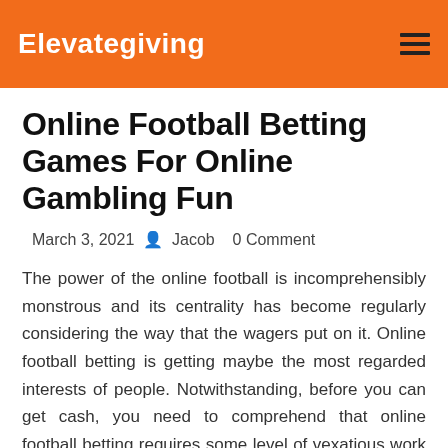Elevategiving
Online Football Betting Games For Online Gambling Fun
March 3, 2021  Jacob  0 Comment
The power of the online football is incomprehensibly monstrous and its centrality has become regularly considering the way that the wagers put on it. Online football betting is getting maybe the most regarded interests of people. Notwithstanding, before you can get cash, you need to comprehend that online football betting requires some level of vexatious work and master online football picks in making the correct